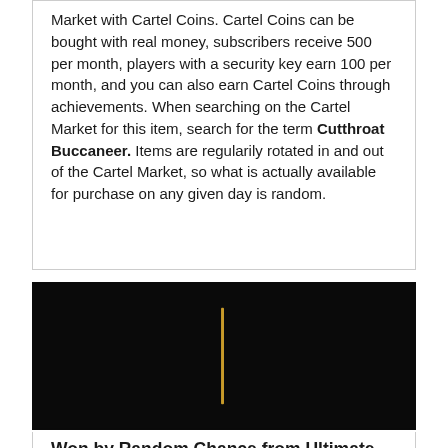Market with Cartel Coins. Cartel Coins can be bought with real money, subscribers receive 500 per month, players with a security key earn 100 per month, and you can also earn Cartel Coins through achievements. When searching on the Cartel Market for this item, search for the term Cutthroat Buccaneer. Items are regularily rotated in and out of the Cartel Market, so what is actually available for purchase on any given day is random.
[Figure (other): Dark black background panel with a vertical gold/yellow bar centered in the image]
Won by Random Chance from Ultimate